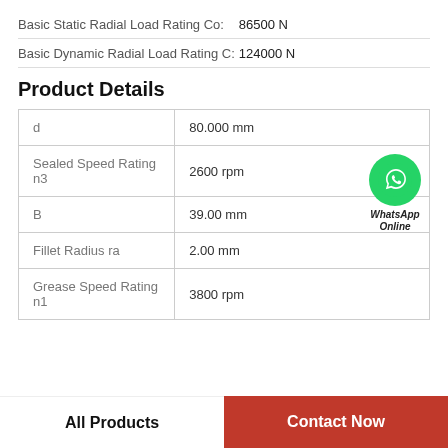Basic Static Radial Load Rating Co:  86500 N
Basic Dynamic Radial Load Rating C:124000 N
Product Details
| Property | Value |
| --- | --- |
| d | 80.000 mm |
| Sealed Speed Rating n3 | 2600 rpm |
| B | 39.00 mm |
| Fillet Radius ra | 2.00 mm |
| Grease Speed Rating n1 | 3800 rpm |
All Products
Contact Now